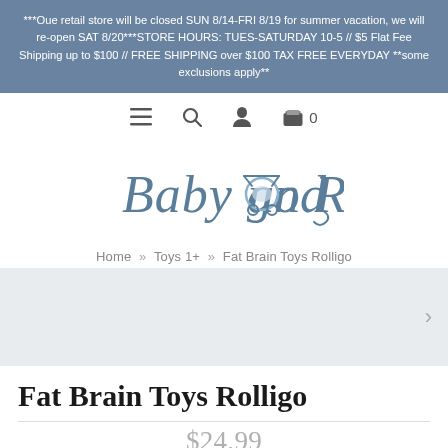***Our retail store will be closed SUN 8/14-FRI 8/19 for summer vacation, we will re-open SAT 8/20***STORE HOURS: TUES-SATURDAY 10-5 // $5 Flat Fee Shipping up to $100 // FREE SHIPPING over $100 TAX FREE EVERYDAY **some exclusions apply**
[Figure (logo): Baby go Round logo in script font with a baby stroller graphic]
Home » Toys 1+ » Fat Brain Toys Rolligo
Fat Brain Toys Rolligo
$24.99